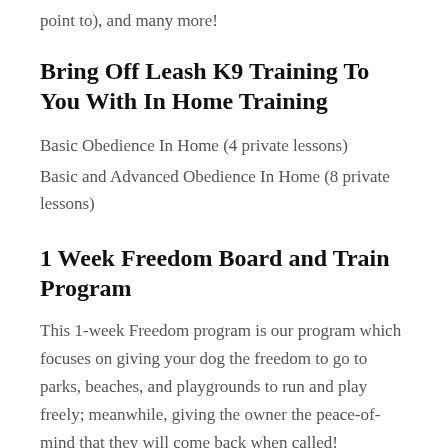point to), and many more!
Bring Off Leash K9 Training To You With In Home Training
Basic Obedience In Home (4 private lessons)
Basic and Advanced Obedience In Home (8 private lessons)
1 Week Freedom Board and Train Program
This 1-week Freedom program is our program which focuses on giving your dog the freedom to go to parks, beaches, and playgrounds to run and play freely; meanwhile, giving the owner the peace-of-mind that they will come back when called!